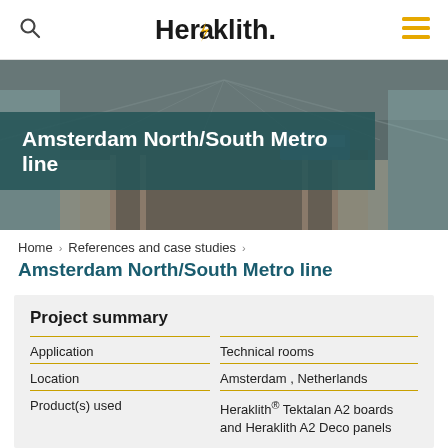Heraklith. (logo with search and menu icons)
[Figure (photo): Interior of Amsterdam North/South Metro line station with train tracks and glass walls, viewed in perspective, with a teal/dark overlay banner]
Amsterdam North/South Metro line
Home › References and case studies ›
Amsterdam North/South Metro line
|  |  |
| --- | --- |
| Application | Technical rooms |
| Location | Amsterdam , Netherlands |
| Product(s) used | Heraklith® Tektalan A2 boards and Heraklith A2 Deco panels |